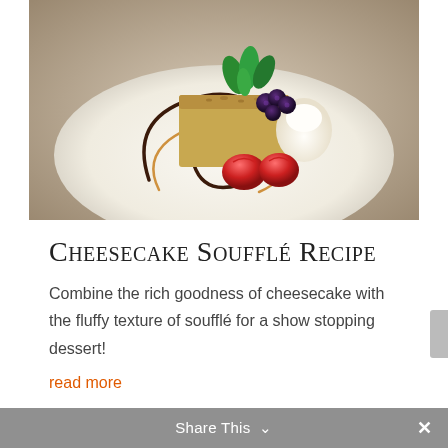[Figure (photo): A plated cheesecake soufflé dessert on a white plate, decorated with chocolate and caramel sauce swirls, fresh strawberries, blackberries, mint garnish, and whipped cream.]
Cheesecake Soufflé Recipe
Combine the rich goodness of cheesecake with the fluffy texture of soufflé for a show stopping dessert!
read more
Share This ∨  ✕